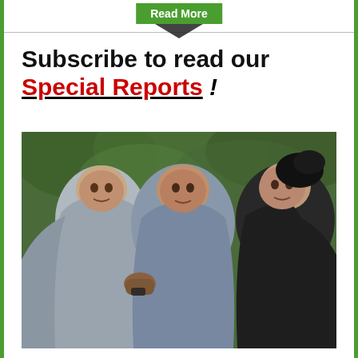Read More
Subscribe to read our Special Reports !
[Figure (photo): Three women wearing hijabs outdoors, with green foliage in the background. The women appear to be in an emotional moment, with one woman holding another's clothing.]